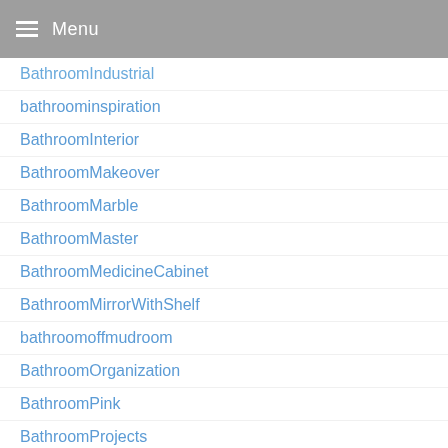Menu
BathroomIndustrial
bathroominspiration
BathroomInterior
BathroomMakeover
BathroomMarble
BathroomMaster
BathroomMedicineCabinet
BathroomMirrorWithShelf
bathroomoffmudroom
BathroomOrganization
BathroomPink
BathroomProjects
bathroomremodel
BathroomRemodeling
BathroomRemodelingIdeas
BathroomRenovationCosts
bathrooms